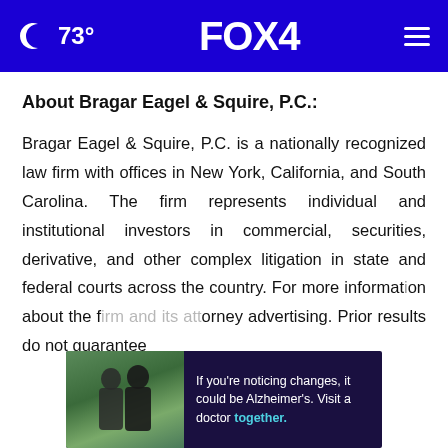🌙 73° FOX 4
About Bragar Eagel & Squire, P.C.:
Bragar Eagel & Squire, P.C. is a nationally recognized law firm with offices in New York, California, and South Carolina. The firm represents individual and institutional investors in commercial, securities, derivative, and other complex litigation in state and federal courts across the country. For more information about the f[irm and] attorney advertising. Prior results do not guarantee
[Figure (advertisement): Ad overlay showing two people with text: If you're noticing changes, it could be Alzheimer's. Visit a doctor together.]